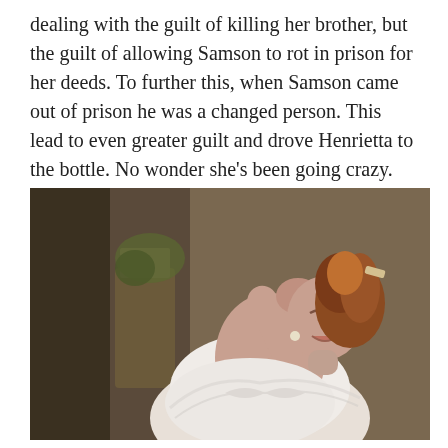dealing with the guilt of killing her brother, but the guilt of allowing Samson to rot in prison for her deeds. To further this, when Samson came out of prison he was a changed person. This lead to even greater guilt and drove Henrietta to the bottle. No wonder she’s been going crazy.
[Figure (photo): A woman in a white lace dress tilting her head back with her fist raised to her mouth, appearing to drink from a bottle or be in distress. She has reddish-brown curly hair pinned up. The background shows a dimly lit room with furniture.]